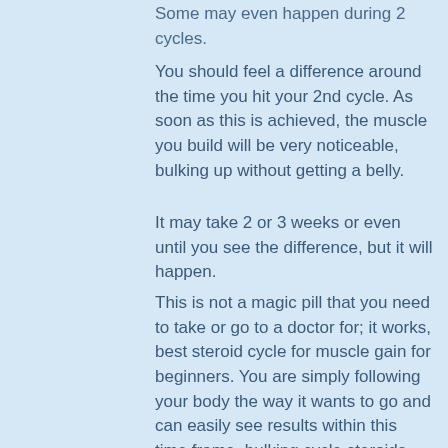Some may even happen during 2 cycles.
You should feel a difference around the time you hit your 2nd cycle. As soon as this is achieved, the muscle you build will be very noticeable, bulking up without getting a belly.
It may take 2 or 3 weeks or even until you see the difference, but it will happen.
This is not a magic pill that you need to take or go to a doctor for; it works, best steroid cycle for muscle gain for beginners. You are simply following your body the way it wants to go and can easily see results within this time frame, bulking cycle steroids advanced.
It also won't hurt to try this cycle if your goal is to gain 100 pounds in just over a year or so, bulking up vomiting.
What Is The Best Trenbolone Tipton Cycle ?